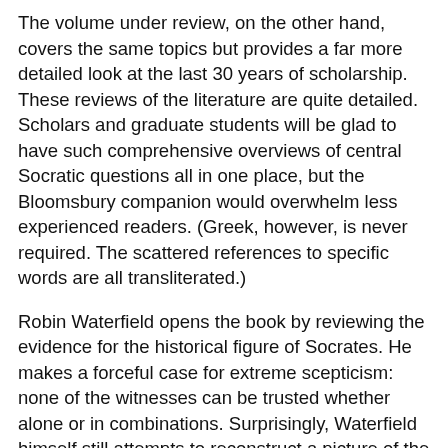The volume under review, on the other hand, covers the same topics but provides a far more detailed look at the last 30 years of scholarship. These reviews of the literature are quite detailed. Scholars and graduate students will be glad to have such comprehensive overviews of central Socratic questions all in one place, but the Bloomsbury companion would overwhelm less experienced readers. (Greek, however, is never required. The scattered references to specific words are all transliterated.)
Robin Waterfield opens the book by reviewing the evidence for the historical figure of Socrates. He makes a forceful case for extreme scepticism: none of the witnesses can be trusted whether alone or in combinations. Surprisingly, Waterfield himself still attempts to reconstruct a picture of the historical Socrates after that. I find his positive conclusions less convincing than his sceptical arguments, but they do testify to the persistent desire for a true Socrates.
Iakovos Vasiliou begins his chapter on Socratic irony with what he calls "play". "Play" is that feature of Plato's Socrates that forces readers to wonder if Socrates is serious. Vasiliou